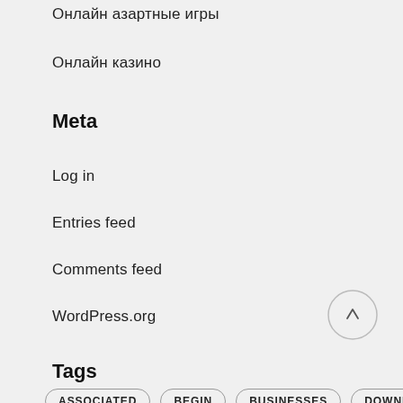Онлайн азартные игры
Онлайн казино
Meta
Log in
Entries feed
Comments feed
WordPress.org
Tags
ASSOCIATED
BEGIN
BUSINESSES
DOWNLOAD
EXPLAINED
HEALTH
HINDI
HOUSE
INDIA
INDIAN
MONEY
OPTION
PARTS
PAYMENTS